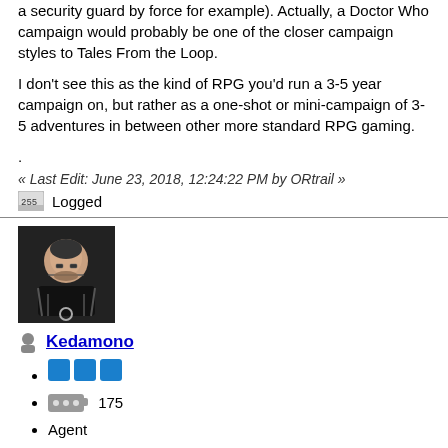a security guard by force for example). Actually, a Doctor Who campaign would probably be one of the closer campaign styles to Tales From the Loop.
I don't see this as the kind of RPG you'd run a 3-5 year campaign on, but rather as a one-shot or mini-campaign of 3-5 adventures in between other more standard RPG gaming.
.
« Last Edit: June 23, 2018, 12:24:22 PM by ORtrail »
Logged
[Figure (photo): Avatar image of user Kedamono, showing an illustrated bald man with glasses and a beard]
Kedamono
3 blue rank squares
175 posts
Agent